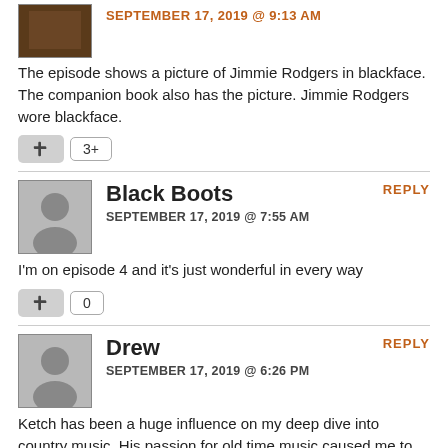The episode shows a picture of Jimmie Rodgers in blackface. The companion book also has the picture. Jimmie Rodgers wore blackface.
👍 3+
Black Boots
SEPTEMBER 17, 2019 @ 7:55 AM
I'm on episode 4 and it's just wonderful in every way
👍 0
Drew
SEPTEMBER 17, 2019 @ 6:26 PM
Ketch has been a huge influence on my deep dive into country music. His passion for old time music caused me to spend hours watching people play clawhammer banjo. He frequently covers Jimmie Rodgers in his OCMS shows and always finds an old tune here and there to fit in. It's amazing the influence people can have on others just with some simple introductions.